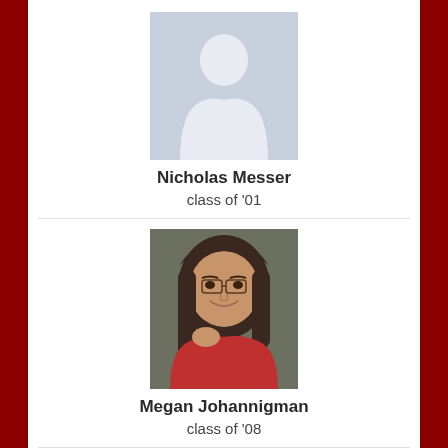[Figure (illustration): Male silhouette placeholder profile photo for Nicholas Messer]
Nicholas Messer
class of '01
[Figure (photo): Photo of Megan Johannigman, a young woman with dark hair wearing a red top]
Megan Johannigman
class of '08
[Figure (illustration): Female silhouette placeholder profile photo for Jeanine Schutte]
Jeanine Schutte
class of '87
[Figure (photo): Partially visible profile photo at bottom of page]